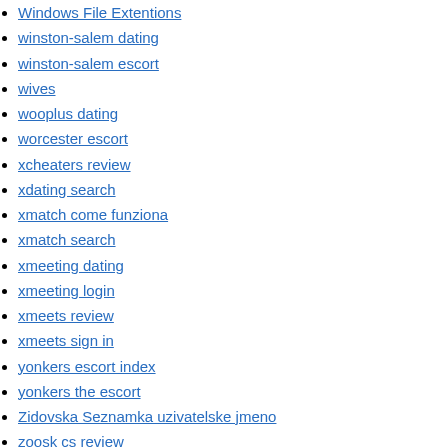Windows File Extentions
winston-salem dating
winston-salem escort
wives
wooplus dating
worcester escort
xcheaters review
xdating search
xmatch come funziona
xmatch search
xmeeting dating
xmeeting login
xmeets review
xmeets sign in
yonkers escort index
yonkers the escort
Zidovska Seznamka uzivatelske jmeno
zoosk cs review
zoosk online dating sites
zoosk vs okcupid reviews
Pesquisar por: [input] Pesquisar
Receitas Recentes